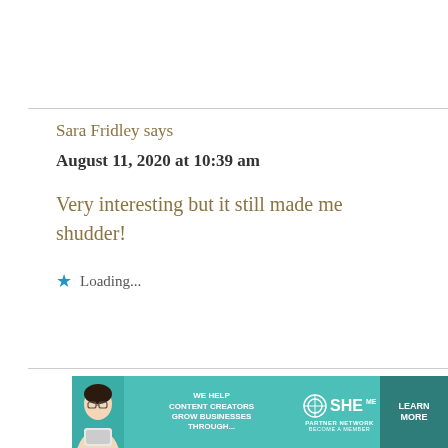Sara Fridley says
August 11, 2020 at 10:39 am
Very interesting but it still made me shudder!
Loading...
[Figure (illustration): Advertisement banner for SHE Media Partner Network: 'We help content creators grow businesses through...' with a Learn More button]